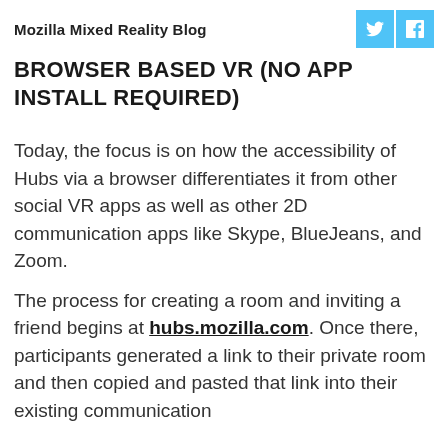Mozilla Mixed Reality Blog
BROWSER BASED VR (NO APP INSTALL REQUIRED)
Today, the focus is on how the accessibility of Hubs via a browser differentiates it from other social VR apps as well as other 2D communication apps like Skype, BlueJeans, and Zoom.
The process for creating a room and inviting a friend begins at hubs.mozilla.com. Once there, participants generated a link to their private room and then copied and pasted that link into their existing communication